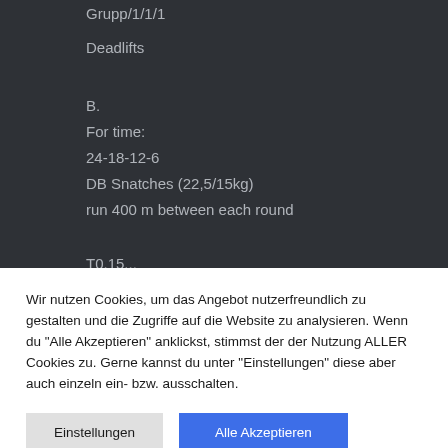Grupp/1/1/1
Deadlifts
B.
For time:
24-18-12-6
DB Snatches (22,5/15kg)
run 400 m between each round
T0.15...
Wir nutzen Cookies, um das Angebot nutzerfreundlich zu gestalten und die Zugriffe auf die Website zu analysieren. Wenn du "Alle Akzeptieren" anklickst, stimmst der der Nutzung ALLER Cookies zu. Gerne kannst du unter "Einstellungen" diese aber auch einzeln ein- bzw. ausschalten.